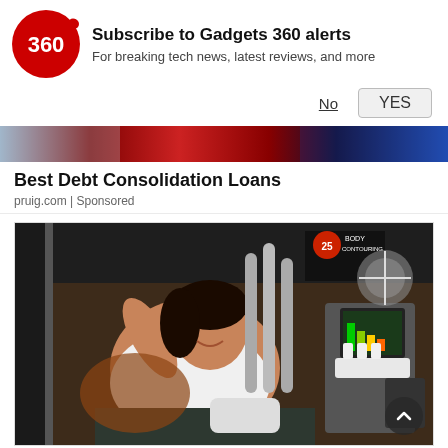[Figure (logo): Gadgets 360 circular logo with red background and white '360' text, with small red dot to the right]
Subscribe to Gadgets 360 alerts
For breaking tech news, latest reviews, and more
No   YES
[Figure (photo): Colorful banner strip with red and blue tones, appears to be part of a webpage header image]
Best Debt Consolidation Loans
pruig.com | Sponsored
[Figure (photo): Woman lying in medical/beauty chair smiling, with body contouring machine with tubes attached, device screen visible on right, '25 Body Contouring' text visible in background]